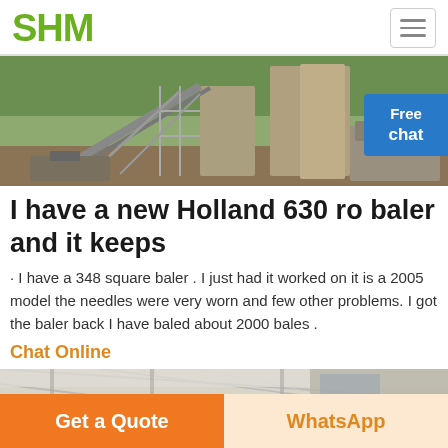SHM
[Figure (photo): Industrial mining/construction equipment site with scaffolding and machinery]
I have a new Holland 630 round baler and it keeps
· I have a 348 square baler . I just had it worked on it is a 2005 model the needles were very worn and few other problems. I got the baler back I have baled about 2000 bales .
Chat Online
[Figure (photo): Industrial facility interior with high ceiling]
Get a Quote
WhatsApp